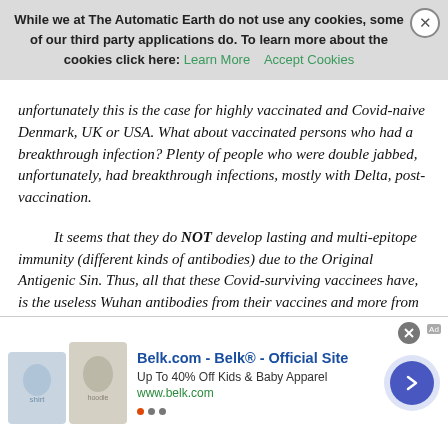While we at The Automatic Earth do not use any cookies, some of our third party applications do. To learn more about the cookies click here: Learn More  Accept Cookies
unfortunately this is the case for highly vaccinated and Covid-naive Denmark, UK or USA. What about vaccinated persons who had a breakthrough infection? Plenty of people who were double jabbed, unfortunately, had breakthrough infections, mostly with Delta, post-vaccination.
It seems that they do NOT develop lasting and multi-epitope immunity (different kinds of antibodies) due to the Original Antigenic Sin. Thus, all that these Covid-surviving vaccinees have, is the useless Wuhan antibodies from their vaccines and more from Covid infection, but not a multitude of neutralizing antibodies such as N-antibodies. Therefore, these people are just as open to ADE from Omicron as the Covid-naive vaccinees.
Read more …
[Figure (other): Advertisement banner for Belk.com showing two product images (children's clothing items), text reading 'Belk.com - Belk® - Official Site', 'Up To 40% Off Kids & Baby Apparel', 'www.belk.com', and a blue circular arrow button.]